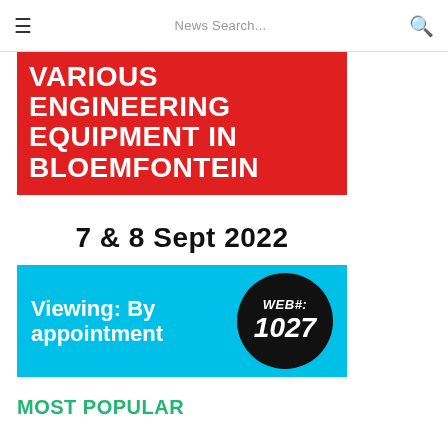≡  News Search...  🔍
[Figure (infographic): Red banner with white bold uppercase text: VARIOUS ENGINEERING EQUIPMENT IN BLOEMFONTEIN]
7 & 8 Sept 2022
[Figure (infographic): Cyan banner with white text 'Viewing: By appointment' and black circle with white italic text 'WEB#: 1027']
MOST POPULAR